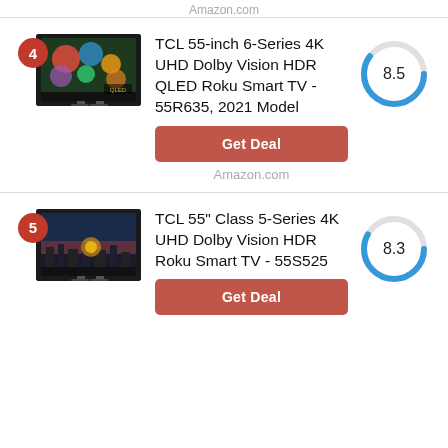Amazon.com
[Figure (photo): TCL 55-inch QLED TV product image with rank badge 4]
TCL 55-inch 6-Series 4K UHD Dolby Vision HDR QLED Roku Smart TV - 55R635, 2021 Model
[Figure (donut-chart): Score]
Get Deal
Amazon.com
[Figure (photo): TCL 55-inch 5-Series TV product image with rank badge 5]
TCL 55" Class 5-Series 4K UHD Dolby Vision HDR Roku Smart TV - 55S525
[Figure (donut-chart): Score]
Get Deal